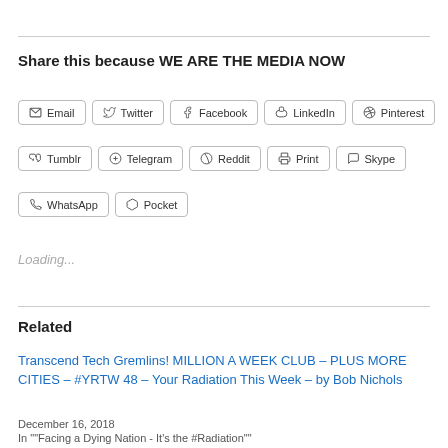Share this because WE ARE THE MEDIA NOW
[Figure (other): Social share buttons: Email, Twitter, Facebook, LinkedIn, Pinterest, Tumblr, Telegram, Reddit, Print, Skype, WhatsApp, Pocket]
Loading...
Related
Transcend Tech Gremlins! MILLION A WEEK CLUB – PLUS MORE CITIES – #YRTW 48 – Your Radiation This Week – by Bob Nichols
December 16, 2018
In ""Facing a Dying Nation - It's the #Radiation""